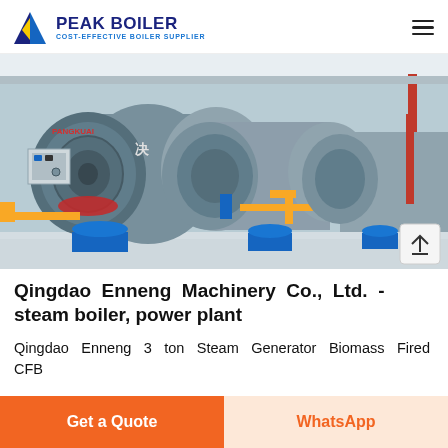PEAK BOILER - COST-EFFECTIVE BOILER SUPPLIER
[Figure (photo): Industrial boiler room showing multiple large horizontal steam boilers (grey cylindrical tanks) with blue bases, yellow gas pipes, red pipes, and control panels in a clean factory setting. Brand text 'PANGKUAI' visible on front boiler.]
Qingdao Enneng Machinery Co., Ltd. - steam boiler, power plant
Qingdao Enneng 3 ton Steam Generator Biomass Fired CFB
Get a Quote
WhatsApp